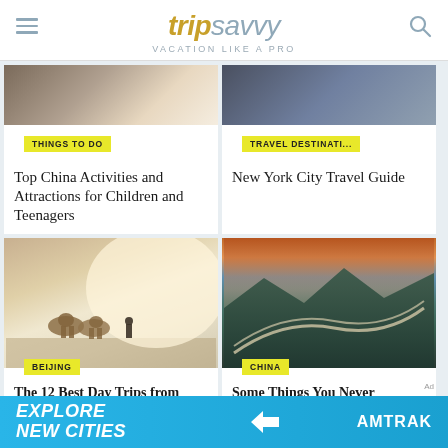tripsavvy — VACATION LIKE A PRO
[Figure (screenshot): Top China Activities and Attractions for Children and Teenagers article card with THINGS TO DO badge and partial header image]
[Figure (screenshot): New York City Travel Guide article card with TRAVEL DESTINATI... badge and partial header image]
[Figure (photo): Camels and person on a misty road in Beijing]
BEIJING
The 12 Best Day Trips from Beijing
[Figure (photo): Aerial view of the Great Wall of China with sunset clouds over green mountains]
CHINA
Some Things You Never Learned About the Great Wall of China
[Figure (screenshot): Amtrak advertisement banner: EXPLORE NEW CITIES]